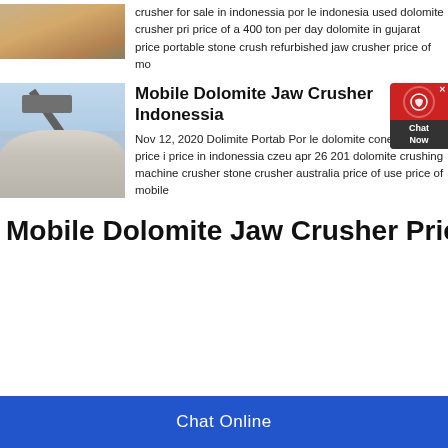[Figure (photo): Top left image - partial view of stone/dolomite crusher operation]
crusher for sale in indonessia por le indonesia used dolomite crusher pri price of a 400 ton per day dolomite in gujarat price portable stone crush refurbished jaw crusher price of mo
[Figure (photo): Image of a pile of crushed stone/dolomite with crushing machinery in background against a cloudy sky]
Mobile Dolomite Jaw Crusher Price Indonessia
Nov 12, 2020 Dolimite Portab Por le dolomite cone crusher price i price in indonessia czeu apr 26 201 dolomite crushing machine crusher stone crusher australia price of use price of mobile
Mobile Dolomite Jaw Crusher Pric
Chat Online